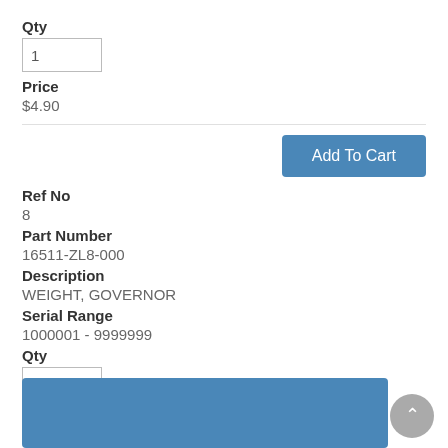Qty
1
Price
$4.90
Add To Cart
Ref No
8
Part Number
16511-ZL8-000
Description
WEIGHT, GOVERNOR
Serial Range
1000001 - 9999999
Qty
2
Price
$1.54